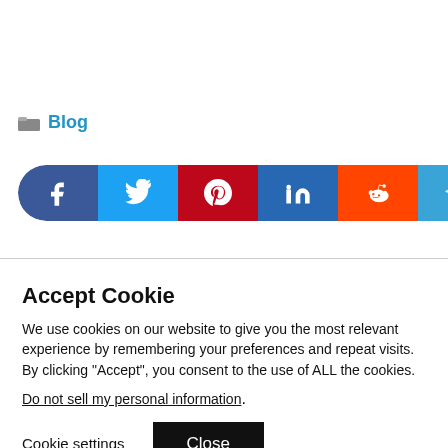Blog
[Figure (infographic): Social share bar with icons for Facebook, Twitter, Pinterest, LinkedIn, Reddit, and Telegram]
Accept Cookie
We use cookies on our website to give you the most relevant experience by remembering your preferences and repeat visits. By clicking “Accept”, you consent to the use of ALL the cookies.
Do not sell my personal information.
Cookie settings  Close